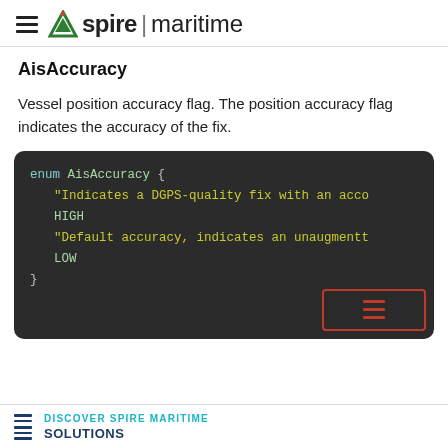Aspire | maritime
AisAccuracy
Vessel position accuracy flag. The position accuracy flag indicates the accuracy of the fix.
[Figure (screenshot): Code block showing enum AisAccuracy definition with HIGH and LOW values and string descriptions]
DISCOVER SPIRE MARITIME SOLUTIONS